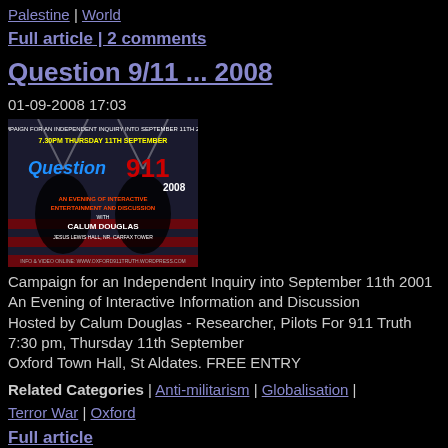Palestine | World
Full article | 2 comments
Question 9/11 ... 2008
01-09-2008 17:03
[Figure (photo): Event poster for Question 911 2008 campaign – 7:30pm Thursday 11th September, An Evening of Interactive Entertainment and Discussion with Calum Douglas, Jesus Lewis Hall, nr Carfax Tower]
Campaign for an Independent Inquiry into September 11th 2001
An Evening of Interactive Information and Discussion
Hosted by Calum Douglas - Researcher, Pilots For 911 Truth
7:30 pm, Thursday 11th September
Oxford Town Hall, St Aldates. FREE ENTRY
Related Categories | Anti-militarism | Globalisation | Terror War | Oxford
Full article